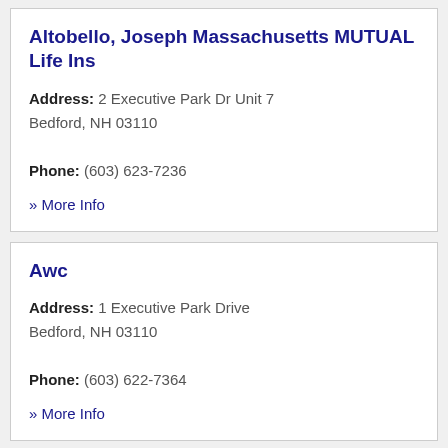Altobello, Joseph Massachusetts MUTUAL Life Ins
Address: 2 Executive Park Dr Unit 7
Bedford, NH 03110
Phone: (603) 623-7236
» More Info
Awc
Address: 1 Executive Park Drive
Bedford, NH 03110
Phone: (603) 622-7364
» More Info
Baldwin & Clarke Advisory Service